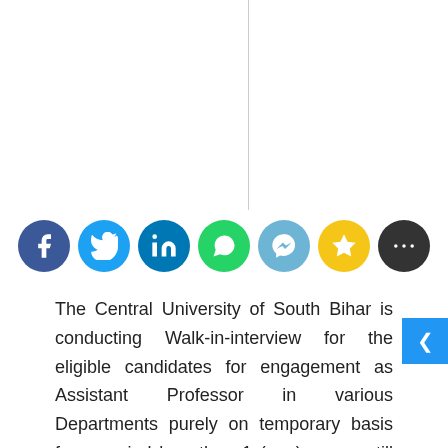[Figure (illustration): Social media share icons row: Facebook, Twitter, LinkedIn, WhatsApp, Messenger, YouTube/Star, Dark circle/More]
The Central University of South Bihar is conducting Walk-in-interview for the eligible candidates for engagement as Assistant Professor in various Departments purely on temporary basis for a period less than 1 (one) year or till regular appointments are made, whichever is earlier. The details of the posts and the number of positions